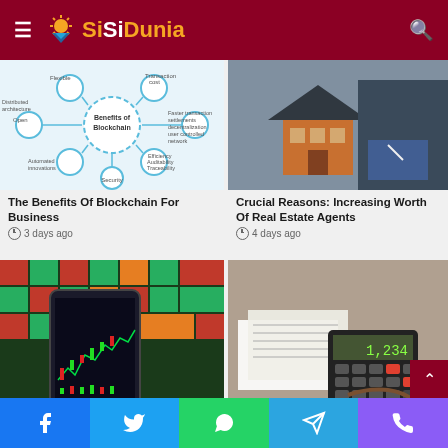SiSiDunia
[Figure (infographic): Blockchain diagram showing benefits: Flexible, Transaction cost, Distributed architecture, Faster transaction settlements decentralization user controlled network, Open, Efficiency Auditability Traceability, Automated operations, Security]
The Benefits Of Blockchain For Business
3 days ago
[Figure (photo): Photo of a model house on a desk with a person signing documents in the background]
Crucial Reasons: Increasing Worth Of Real Estate Agents
4 days ago
[Figure (photo): Photo of hands holding a smartphone showing stock trading charts, with colorful trading screens in background]
[Figure (photo): Photo of hands using a calculator with documents on desk]